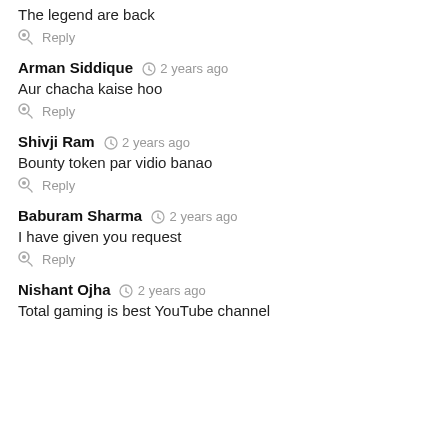The legend are back
Reply
Arman Siddique  2 years ago
Aur chacha kaise hoo
Reply
Shivji Ram  2 years ago
Bounty token par vidio banao
Reply
Baburam Sharma  2 years ago
I have given you request
Reply
Nishant Ojha  2 years ago
Total gaming is best YouTube channel